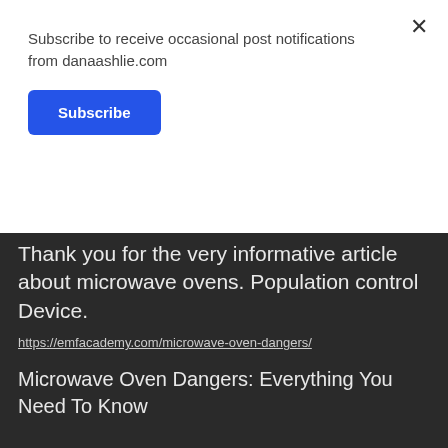Subscribe to receive occasional post notifications from danaashlie.com
Subscribe
DANGEROUS MICROWAVE OVENS
Thank you for the very informative article about microwave ovens. Population control Device.
https://emfacademy.com/microwave-oven-dangers/
Microwave Oven Dangers: Everything You Need To Know